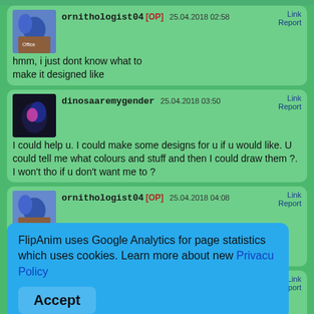[Figure (screenshot): Forum/chat screenshot from FlipAnim showing comment thread between ornithologist04 and dinosaaremygender, with a cookie consent popup overlay.]
ornithologist04 [OP] 25.04.2018 02:58 Link Report
hmm, i just dont know what to make it designed like
dinosaaremygender 25.04.2018 03:50 Link Report
I could help u. I could make some designs for u if u would like. U could tell me what colours and stuff and then I could draw them ?. I won't tho if u don't want me to ?
ornithologist04 [OP] 25.04.2018 04:08 Link Report
hmmm, i like blue and black, and i like the wing style of this dragon...
dinosaaremygender 25.04.2018 04:46 Link Report
FlipAnim uses Google Analytics for page statistics which uses cookies. Learn more about new Privacy Policy
Accept